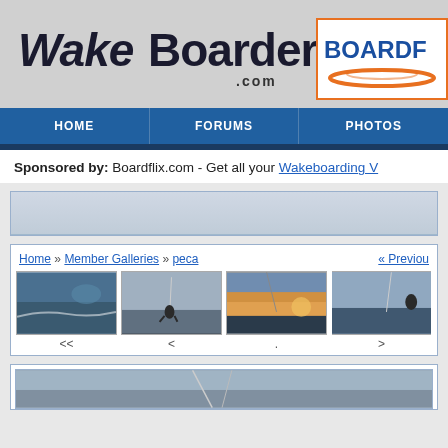[Figure (logo): WakeBoarder.com website logo — stylized bold text 'WakeBoarder' with '.com' subtitle, dark color on gray background]
[Figure (logo): Boardflix.com logo — blue bold text 'BOARDF...' with orange swoosh graphic, white background with orange border]
HOME | FORUMS | PHOTOS
Sponsored by: Boardflix.com - Get all your Wakeboarding V...
[Figure (screenshot): Gray placeholder banner area]
Home » Member Galleries » peca
« Previous...
[Figure (photo): Wakeboarding action photo 1 — water and rider from behind]
[Figure (photo): Wakeboarding action photo 2 — rider silhouette against sky]
[Figure (photo): Wakeboarding action photo 3 — sunset sky with rider]
[Figure (photo): Wakeboarding action photo 4 — rider on water, partially visible]
<<
<
.
>
[Figure (screenshot): Partial bottom image — gray/blue tones, appears to be another wakeboarding photo]